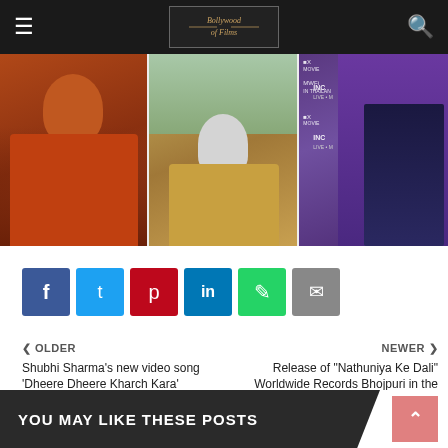≡  [Logo: Bollywood of Films]  🔍
[Figure (photo): Three-panel image strip: left panel shows a woman in orange/red attire, center panel shows an elderly man in traditional Indian clothing outdoors, right panel shows a man in a suit at an event with INOX/MWFi banners in background.]
[Figure (infographic): Social share buttons row: Facebook (blue), Twitter (light blue), Pinterest (red), LinkedIn (dark blue), WhatsApp (green), Email (gray)]
❮ OLDER
Shubhi Sharma's new video song 'Dheere Dheere Kharch Kara' released from Morning Star record Fagua Bhojpuri
NEWER ❯
Release of "Nathuniya Ke Dali" Worldwide Records Bhojpuri in the voice of Ankush Raja, Priyanka Singh
YOU MAY LIKE THESE POSTS